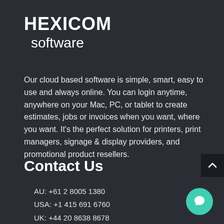HEXICOM software
Our cloud based software is simple, smart, easy to use and always online. You can login anytime, anywhere on your Mac, PC, or tablet to create estimates, jobs or invoices when you want, where you want. It’s the perfect solution for printers, print managers, signage & display providers, and promotional product resellers.
Contact Us
AU: +61 2 8005 1380
USA: +1 415 691 6760
UK: +44 20 8638 8678
support@hexicomsoftware.com